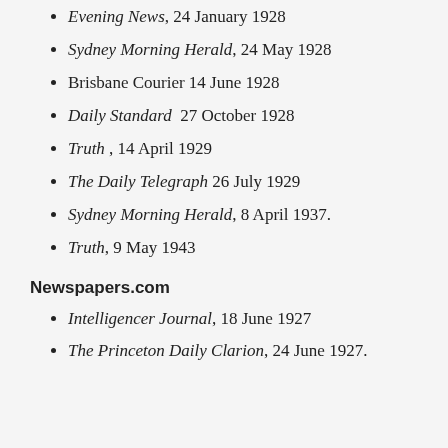Evening News, 24 January 1928
Sydney Morning Herald, 24 May 1928
Brisbane Courier 14 June 1928
Daily Standard  27 October 1928
Truth , 14 April 1929
The Daily Telegraph 26 July 1929
Sydney Morning Herald, 8 April 1937.
Truth, 9 May 1943
Newspapers.com
Intelligencer Journal, 18 June 1927
The Princeton Daily Clarion, 24 June 1927.